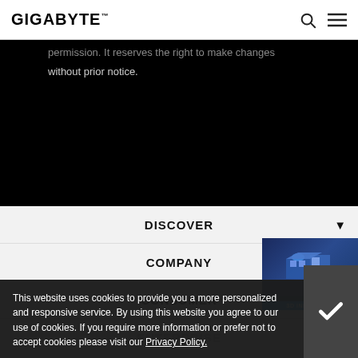GIGABYTE
permission. It reserves the right to make changes without prior notice.
DISCOVER
COMPANY
[Figure (illustration): 3D Industry banner showing an isometric 3D building/facility illustration with '3D INDUSTRY >' label in cyan]
CONSUMER
ENTERPRISE
RESOURCE
This website uses cookies to provide you a more personalized and responsive service. By using this website you agree to our use of cookies. If you require more information or prefer not to accept cookies please visit our Privacy Policy.